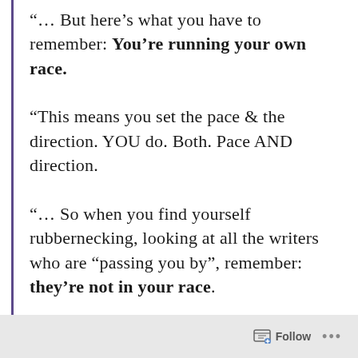“… But here’s what you have to remember: You’re running your own race. “This means you set the pace & the direction. YOU do. Both. Pace AND direction. “… So when you find yourself rubbernecking, looking at all the writers who are “passing you by”, remember: they’re not in your race. … Your race is still your own & it will
Follow ...